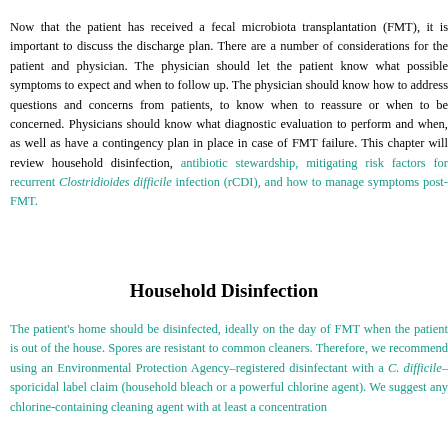Now that the patient has received a fecal microbiota transplantation (FMT), it is important to discuss the discharge plan. There are a number of considerations for the patient and physician. The physician should let the patient know what possible symptoms to expect and when to follow up. The physician should know how to address questions and concerns from patients, to know when to reassure or when to be concerned. Physicians should know what diagnostic evaluation to perform and when, as well as have a contingency plan in place in case of FMT failure. This chapter will review household disinfection, antibiotic stewardship, mitigating risk factors for recurrent Clostridioides difficile infection (rCDI), and how to manage symptoms post-FMT.
Household Disinfection
The patient's home should be disinfected, ideally on the day of FMT when the patient is out of the house. Spores are resistant to common cleaners. Therefore, we recommend using an Environmental Protection Agency–registered disinfectant with a C. difficile–sporicidal label claim (household bleach or a powerful chlorine agent). We suggest any chlorine-containing cleaning agent with at least a concentration